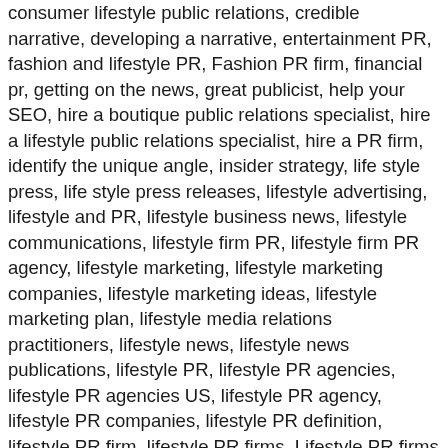consumer lifestyle public relations, credible narrative, developing a narrative, entertainment PR, fashion and lifestyle PR, Fashion PR firm, financial pr, getting on the news, great publicist, help your SEO, hire a boutique public relations specialist, hire a lifestyle public relations specialist, hire a PR firm, identify the unique angle, insider strategy, life style press, life style press releases, lifestyle advertising, lifestyle and PR, lifestyle business news, lifestyle communications, lifestyle firm PR, lifestyle firm PR agency, lifestyle marketing, lifestyle marketing companies, lifestyle marketing ideas, lifestyle marketing plan, lifestyle media relations practitioners, lifestyle news, lifestyle news publications, lifestyle PR, lifestyle PR agencies, lifestyle PR agencies US, lifestyle PR agency, lifestyle PR companies, lifestyle PR definition, lifestyle PR firm, lifestyle PR firms, Lifestyle PR firms NYC, pr agencies, pr agency, press release can help with SEO, promote my company, promote your company, public relations advisor, public relations and lifestyle, public relations consultant, public relations for lifestyle company, public relations lifestyle company, public lifestyle, public